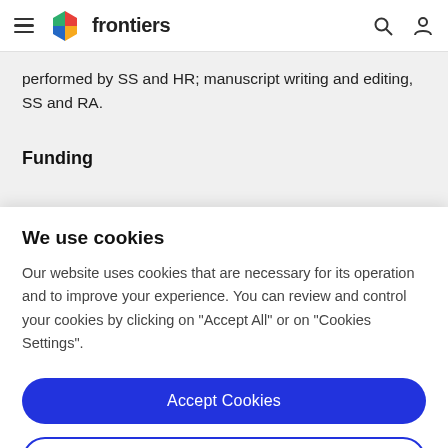frontiers
performed by SS and HR; manuscript writing and editing, SS and RA.
Funding
We use cookies
Our website uses cookies that are necessary for its operation and to improve your experience. You can review and control your cookies by clicking on "Accept All" or on "Cookies Settings".
Accept Cookies
Cookies Settings